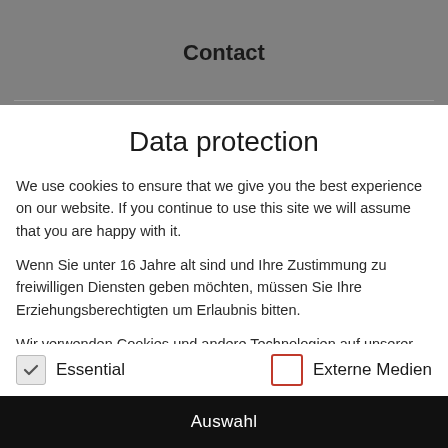Contact
Data protection
We use cookies to ensure that we give you the best experience on our website. If you continue to use this site we will assume that you are happy with it.
Wenn Sie unter 16 Jahre alt sind und Ihre Zustimmung zu freiwilligen Diensten geben möchten, müssen Sie Ihre Erziehungsberechtigten um Erlaubnis bitten.
Wir verwenden Cookies und andere Technologien auf unserer Website. Einige von ihnen sind essenziell, während andere uns helfen, diese Website und Ihre Erfahrung zu verbessern. Personenbezogene Daten können verarbeitet werden (z. B. IP-Adressen), z. B. für personalisierte Anzeigen und Inhalte oder
Essential
Externe Medien